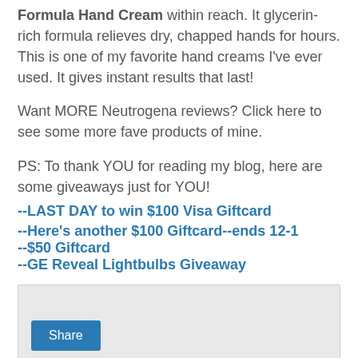Formula Hand Cream within reach. It glycerin-rich formula relieves dry, chapped hands for hours. This is one of my favorite hand creams I've ever used. It gives instant results that last!
Want MORE Neutrogena reviews? Click here to see some more fave products of mine.
PS: To thank YOU for reading my blog, here are some giveaways just for YOU!
--LAST DAY to win $100 Visa Giftcard
--Here's another $100 Giftcard--ends 12-1
--$50 Giftcard
--GE Reveal Lightbulbs Giveaway
[Figure (other): Share button widget area with light gray background and a blue Share button]
25 comments: